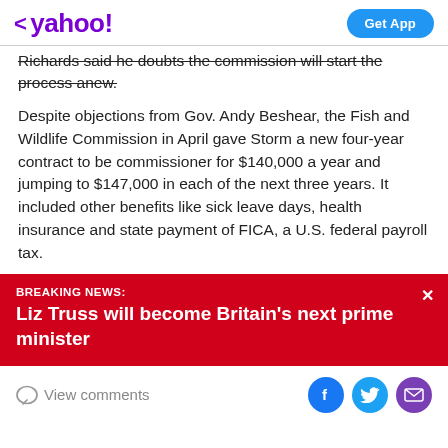< yahoo! | Get App
Richards said he doubts the commission will start the process anew.
Despite objections from Gov. Andy Beshear, the Fish and Wildlife Commission in April gave Storm a new four-year contract to be commissioner for $140,000 a year and jumping to $147,000 in each of the next three years. It included other benefits like sick leave days, health insurance and state payment of FICA, a U.S. federal payroll tax.
BREAKING NEWS: Liz Truss will become Britain's next prime minister
View comments